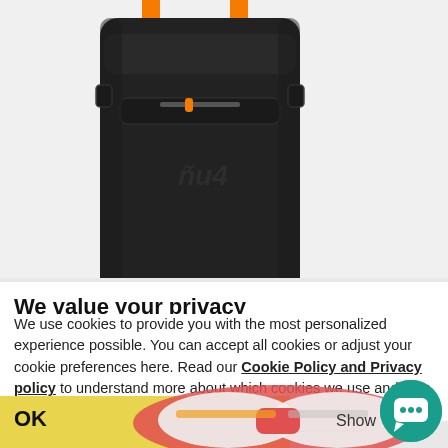[Figure (photo): Black Aqua Evo 22L Backpack with orange accents on white/light grey background]
Aqua Evo 22L Backpack
£66.63
Add to basket
We value your privacy
We use cookies to provide you with the most personalized experience possible. You can accept all cookies or adjust your cookie preferences here. Read our Cookie Policy and Privacy policy to understand more about which cookies we use and how we use them
[Figure (photo): Pink/red motocross goggles partially visible at bottom of page]
OK
Show
[Figure (photo): Teal chat button with speech bubble icon in bottom right corner]